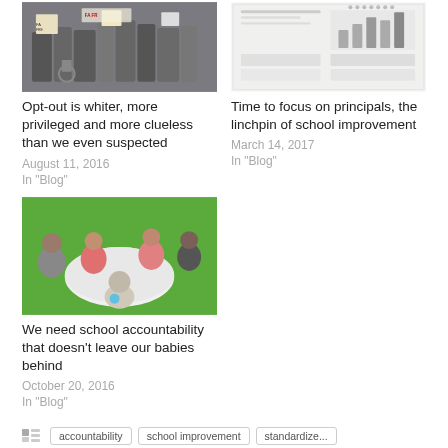[Figure (photo): Crowd of protesters holding signs outdoors, including a person in a wheelchair]
[Figure (infographic): Infographic with bar chart, text blocks, and icon rows showing survey or demographic data]
Opt-out is whiter, more privileged and more clueless than we even suspected
August 11, 2016
In "Blog"
Time to focus on principals, the linchpin of school improvement
March 14, 2017
In "Blog"
[Figure (photo): Children sitting around a white table in a room with a bright green wall]
We need school accountability that doesn't leave our babies behind
October 20, 2016
In "Blog"
accountability
school improvement
standardize...